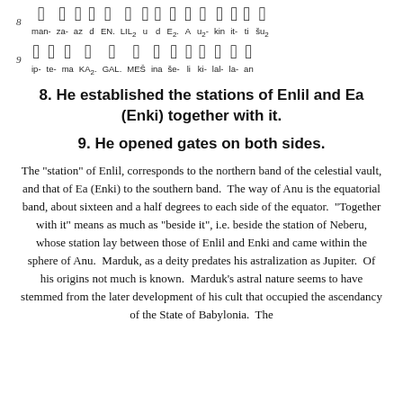[Figure (other): Row 8 cuneiform script signs with transliteration labels: man- za- az d EN. LIL2 u d E2. A u2- kin it- ti šu2]
[Figure (other): Row 9 cuneiform script signs with transliteration labels: ip- te- ma KA2. GAL. MEŠ ina še- li ki- lal- la- an]
8. He established the stations of Enlil and Ea (Enki) together with it.
9. He opened gates on both sides.
The "station" of Enlil, corresponds to the northern band of the celestial vault, and that of Ea (Enki) to the southern band. The way of Anu is the equatorial band, about sixteen and a half degrees to each side of the equator. "Together with it" means as much as "beside it", i.e. beside the station of Neberu, whose station lay between those of Enlil and Enki and came within the sphere of Anu. Marduk, as a deity predates his astralization as Jupiter. Of his origins not much is known. Marduk's astral nature seems to have stemmed from the later development of his cult that occupied the ascendancy of the State of Babylonia. The